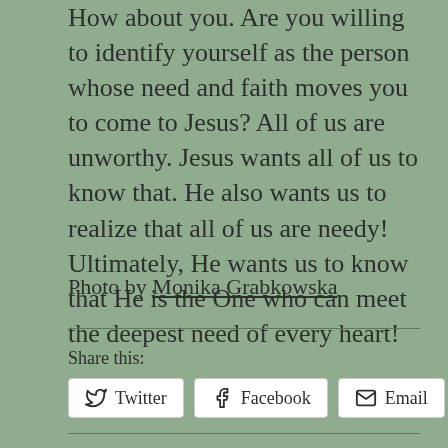How about you. Are you willing to identify yourself as the person whose need and faith moves you to come to Jesus? All of us are unworthy. Jesus wants all of us to know that. He also wants us to realize that all of us are needy! Ultimately, He wants us to know that He is the One who can meet the deepest need of every heart!
Photo by Monika Grabkowska
Share this:
Twitter   Facebook   Email